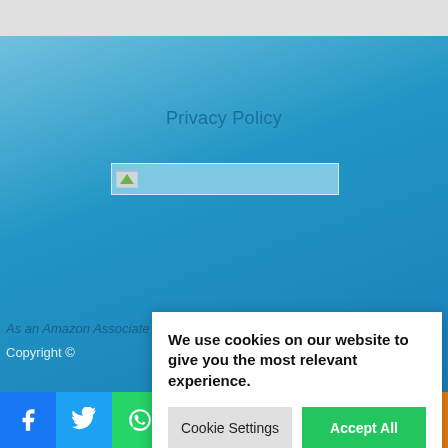Privacy Policy
[Figure (screenshot): Search input box with broken image placeholder icon]
As an Amazon Associate this website earns from qualifying purchases
Copyright ©
We use cookies on our website to give you the most relevant experience.
Cookie Settings    Accept All
[Figure (infographic): Social media sharing bar with icons: Facebook, Twitter, WhatsApp, Instagram, Pinterest, YouTube, Reddit, Share]